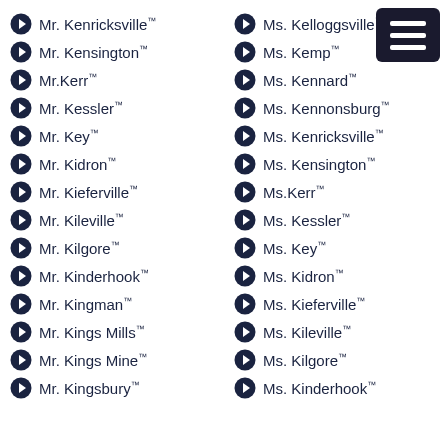Mr. Kenricksville™
Ms. Kelloggsville™
Mr. Kensington™
Ms. Kemp™
Mr.Kerr™
Ms. Kennard™
Mr. Kessler™
Ms. Kennonsburg™
Mr. Key™
Ms. Kenricksville™
Mr. Kidron™
Ms. Kensington™
Mr. Kieferville™
Ms.Kerr™
Mr. Kileville™
Ms. Kessler™
Mr. Kilgore™
Ms. Key™
Mr. Kinderhook™
Ms. Kidron™
Mr. Kingman™
Ms. Kieferville™
Mr. Kings Mills™
Ms. Kileville™
Mr. Kings Mine™
Ms. Kilgore™
Mr. Kingsbury™
Ms. Kinderhook™